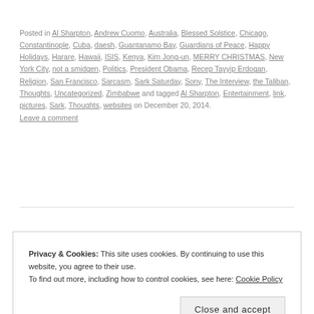Posted in Al Sharpton, Andrew Cuomo, Australia, Blessed Solstice, Chicago, Constantinople, Cuba, daesh, Guantanamo Bay, Guardians of Peace, Happy Holidays, Harare, Hawaii, ISIS, Kenya, Kim Jong-un, MERRY CHRISTMAS, New York City, not a smidgen, Politics, President Obama, Recep Tayyip Erdogan, Religion, San Francisco, Sarcasm, Sark Saturday, Sony, The Interview, the Taliban, Thoughts, Uncategorized, Zimbabwe and tagged Al Sharpton, Entertainment, link, pictures, Sark, Thoughts, websites on December 20, 2014. Leave a comment
Privacy & Cookies: This site uses cookies. By continuing to use this website, you agree to their use. To find out more, including how to control cookies, see here: Cookie Policy
Close and accept